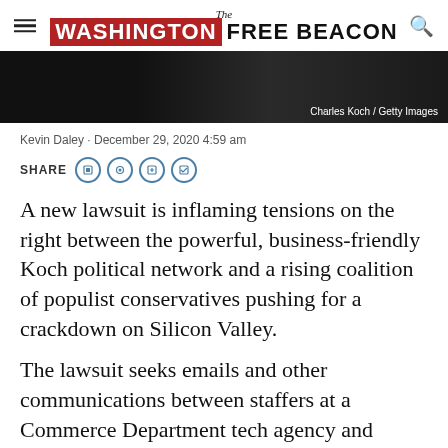The Washington Free Beacon
[Figure (photo): Dark background photo with black lace/bow tie detail visible, photo credit: Charles Koch / Getty Images]
Kevin Daley · December 29, 2020 4:59 am
SHARE
A new lawsuit is inflaming tensions on the right between the powerful, business-friendly Koch political network and a rising coalition of populist conservatives pushing for a crackdown on Silicon Valley.
The lawsuit seeks emails and other communications between staffers at a Commerce Department tech agency and outside